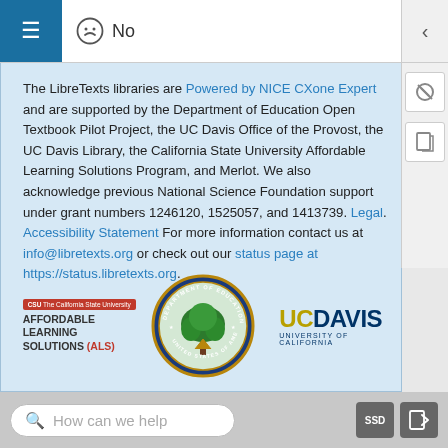≡  😞 No
The LibreTexts libraries are Powered by NICE CXone Expert and are supported by the Department of Education Open Textbook Pilot Project, the UC Davis Office of the Provost, the UC Davis Library, the California State University Affordable Learning Solutions Program, and Merlot. We also acknowledge previous National Science Foundation support under grant numbers 1246120, 1525057, and 1413739. Legal. Accessibility Statement For more information contact us at info@libretexts.org or check out our status page at https://status.libretexts.org.
[Figure (logo): California State University Affordable Learning Solutions (ALS) logo]
[Figure (logo): US Department of Education seal with tree]
[Figure (logo): UC Davis University of California logo]
How can we help  SSD